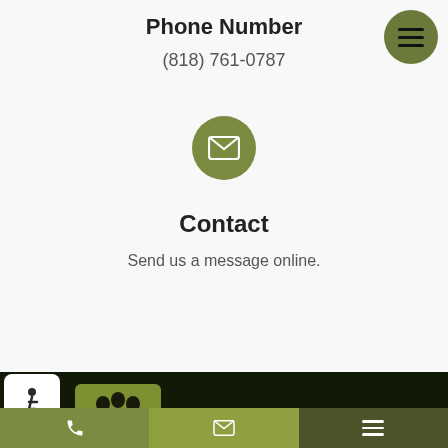Phone Number
(818) 761-0787
[Figure (other): Green circle with white envelope/email icon]
Contact
Send us a message online.
[Figure (logo): Limehouse Veterinary Clinic of Holistic Medicine logo — green square with paw print and yin-yang symbol, beside text LIMEHOUSE VETERINARY CLINIC OF HOLISTIC MEDICINE on dark background]
[Figure (logo): Delta4 Digital — THE SCIENCE OF SMARTER WEBSITES logo on dark background]
Navigation bar with phone icon, email icon, and hamburger menu icon